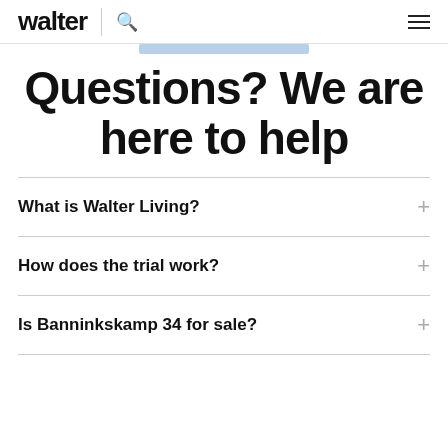walter
Questions? We are here to help
What is Walter Living?
How does the trial work?
Is Banninkskamp 34 for sale?